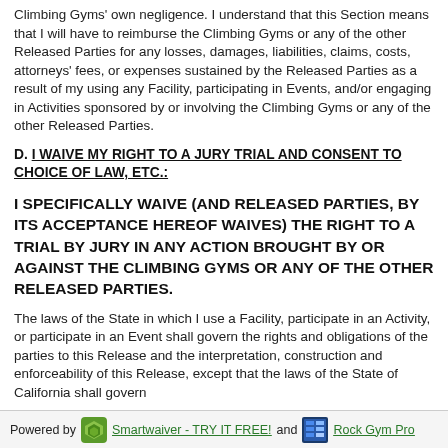Climbing Gyms' own negligence. I understand that this Section means that I will have to reimburse the Climbing Gyms or any of the other Released Parties for any losses, damages, liabilities, claims, costs, attorneys' fees, or expenses sustained by the Released Parties as a result of my using any Facility, participating in Events, and/or engaging in Activities sponsored by or involving the Climbing Gyms or any of the other Released Parties.
D. I WAIVE MY RIGHT TO A JURY TRIAL AND CONSENT TO CHOICE OF LAW, ETC.:
I SPECIFICALLY WAIVE (AND RELEASED PARTIES, BY ITS ACCEPTANCE HEREOF WAIVES) THE RIGHT TO A TRIAL BY JURY IN ANY ACTION BROUGHT BY OR AGAINST THE CLIMBING GYMS OR ANY OF THE OTHER RELEASED PARTIES.
The laws of the State in which I use a Facility, participate in an Activity, or participate in an Event shall govern the rights and obligations of the parties to this Release and the interpretation, construction and enforceability of this Release, except that the laws of the State of California shall govern
Powered by Smartwaiver - TRY IT FREE! and Rock Gym Pro